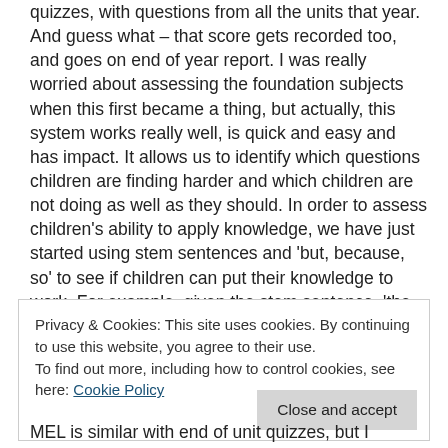quizzes, with questions from all the units that year. And guess what – that score gets recorded too, and goes on end of year report. I was really worried about assessing the foundation subjects when this first became a thing, but actually, this system works really well, is quick and easy and has impact.  It allows us to identify which questions children are finding harder and which children are not doing as well as they should. In order to assess children's ability to apply knowledge, we have just started using stem sentences and 'but, because, so' to see if children can put their knowledge to work.   For example, given the stem sentence, 'the River Nile used to flood each year...' can the children carry on this sentence 3 different ways, using but, because and so?  For example, the River Nile used to flood each year but does not
Privacy & Cookies: This site uses cookies. By continuing to use this website, you agree to their use.
To find out more, including how to control cookies, see here: Cookie Policy
MEL is similar with end of unit quizzes, but I haven't got